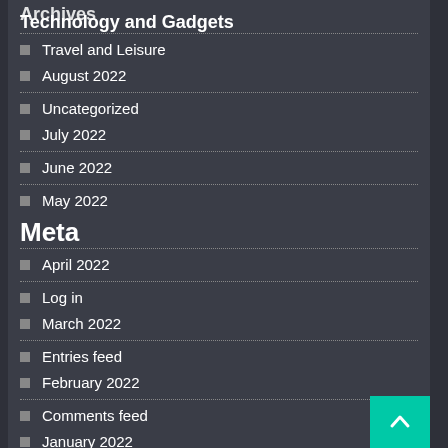Archives
Technology and Gadgets
Travel and Leisure
August 2022
Uncategorized
July 2022
June 2022
May 2022
Meta
April 2022
Log in
March 2022
Entries feed
February 2022
Comments feed
January 2022
WordPress.org
December 2021
November 2021